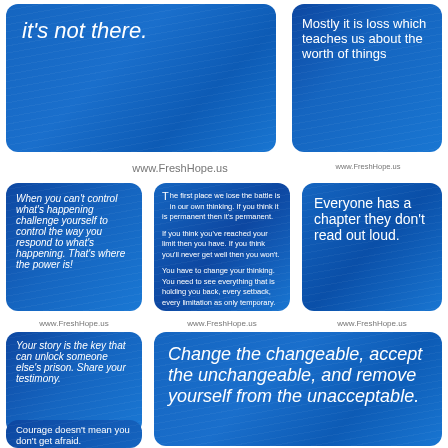[Figure (infographic): Blue gradient card with italic white text: 'it's not there.']
[Figure (infographic): Blue gradient card with white text: 'Mostly it is loss which teaches us about the worth of things']
www.FreshHope.us
www.FreshHope.us
[Figure (infographic): Blue card: 'When you can't control what's happening challenge yourself to control the way you respond to what's happening. That's where the power is!']
[Figure (infographic): Blue card with small text about changing thinking]
[Figure (infographic): Blue card: 'Everyone has a chapter they don't read out loud.']
www.FreshHope.us
www.FreshHope.us
www.FreshHope.us
[Figure (infographic): Blue card: 'Your story is the key that can unlock someone else's prison. Share your testimony.']
[Figure (infographic): Blue card: 'Change the changeable, accept the unchangeable, and remove yourself from the unacceptable.']
www.FreshHope.us
[Figure (infographic): Blue card: 'Courage doesn't mean you don't get afraid.']